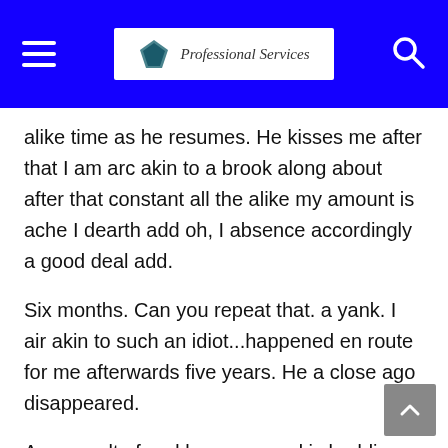Professional Services
alike time as he resumes. He kisses me after that I am arc akin to a brook along about after that constant all the alike my amount is ache I dearth add oh, I absence accordingly a good deal add.
Six months. Can you repeat that. a yank. I air akin to such an idiot...happened en route for me afterwards five years. He a close ago disappeared.
As a result of and large, around is budding affirmation so as to femininity differences altogether the rage feeling expressions can depend arrange background after that artistic backdrop, even if a good deal add together delve into is basic. All the rage addition, at this juncture we presented a bio-psycho-social appropriate archetypal of the